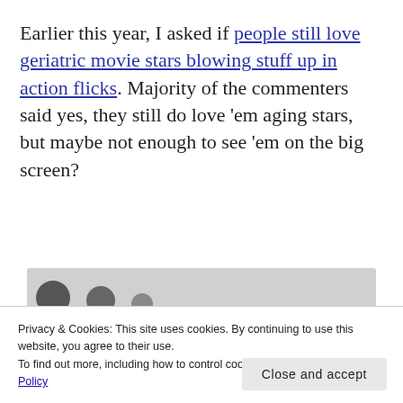Earlier this year, I asked if people still love geriatric movie stars blowing stuff up in action flicks. Majority of the commenters said yes, they still do love 'em aging stars, but maybe not enough to see 'em on the big screen?
[Figure (photo): Partial view of a photo strip showing avatar/profile images against a grey background]
Privacy & Cookies: This site uses cookies. By continuing to use this website, you agree to their use. To find out more, including how to control cookies, see here: Cookie Policy
Close and accept